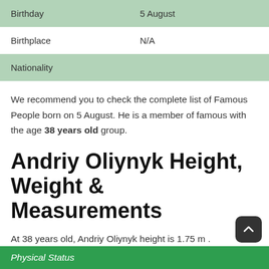| Birthday | 5 August |
| Birthplace | N/A |
| Nationality |  |
We recommend you to check the complete list of Famous People born on 5 August. He is a member of famous with the age 38 years old group.
Andriy Oliynyk Height, Weight & Measurements
At 38 years old, Andriy Oliynyk height is 1.75 m .
Physical Status